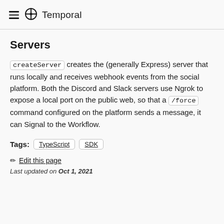Temporal
Servers
createServer creates the (generally Express) server that runs locally and receives webhook events from the social platform. Both the Discord and Slack servers use Ngrok to expose a local port on the public web, so that a /force command configured on the platform sends a message, it can Signal to the Workflow.
Tags: TypeScript SDK
Edit this page
Last updated on Oct 1, 2021